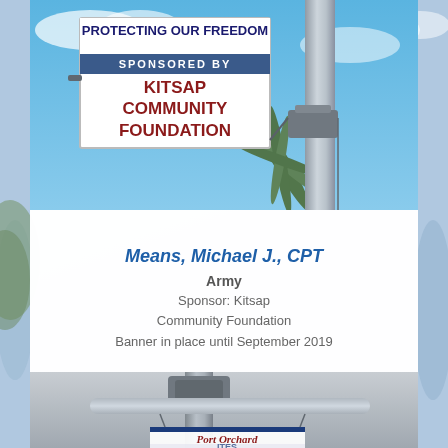[Figure (photo): Outdoor street banner on a metal pole reading 'PROTECTING OUR FREEDOM, SPONSORED BY, KITSAP COMMUNITY FOUNDATION' in red and dark blue text, mounted against a blue sky with palm trees visible]
Means, Michael J., CPT
Army
Sponsor: Kitsap Community Foundation
Banner in place until September 2019
[Figure (photo): Close-up photo of a metal street light pole with a horizontal crossbar and a partially visible Port Orchard banner hanging below, taken against an overcast sky]